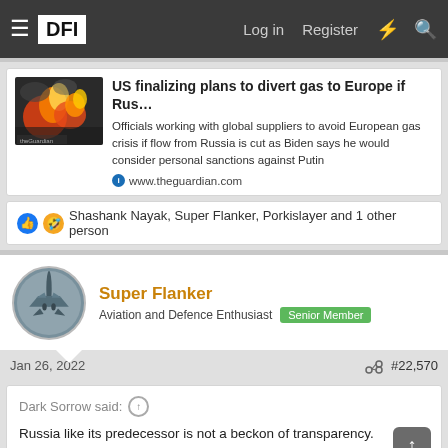DFI | Log in | Register
[Figure (screenshot): News article preview card: thumbnail image of fire/explosion on left, article title 'US finalizing plans to divert gas to Europe if Rus...' and snippet text, source www.theguardian.com]
Shashank Nayak, Super Flanker, Porkislayer and 1 other person
Super Flanker
Aviation and Defence Enthusiast  Senior Member
Jan 26, 2022  #22,570
Dark Sorrow said: ↑
Russia like its predecessor is not a beckon of transparency.
It is a know fact that countries like Russia, PRC, etc.are known to